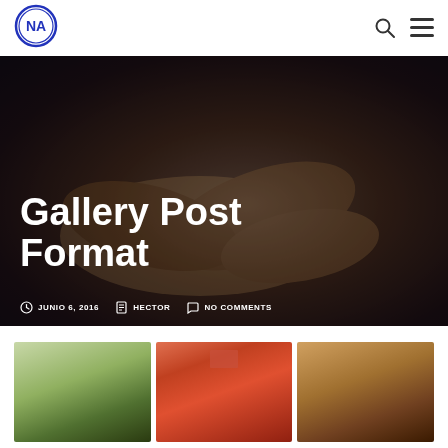[Figure (logo): NA circular logo in blue with letters NA inside]
Navigation bar with NA logo, search icon, and hamburger menu icon
Gallery Post Format
JUNIO 6, 2016  HECTOR  NO COMMENTS
[Figure (photo): Hero background photo showing many hands piled together wearing blue wristbands, dark overlay]
[Figure (photo): Three thumbnail gallery images: blonde woman outdoors, crowd at outdoor event with red tent, people at outdoor gathering warm toned]